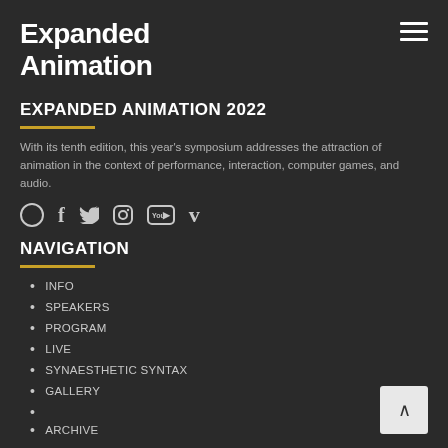Expanded Animation
EXPANDED ANIMATION 2022
With its tenth edition, this year's symposium addresses the attraction of animation in the context of performance, interaction, computer games, and audio.
[Figure (infographic): Social media icons row: circle, Facebook (f), Twitter (bird), Instagram, YouTube, Vimeo (V)]
NAVIGATION
INFO
SPEAKERS
PROGRAM
LIVE
SYNAESTHETIC SYNTAX
GALLERY
ARCHIVE
2021
2020